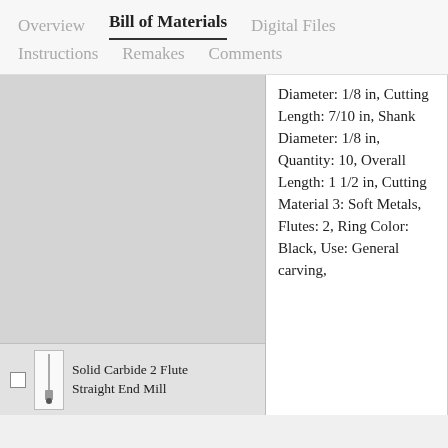Overview   Bill of Materials   Digital Files   Instructions   Remakes   Comments
Diameter: 1/8 in, Cutting Length: 7/10 in, Shank Diameter: 1/8 in, Quantity: 10, Overall Length: 1 1/2 in, Cutting Material 3: Soft Metals, Flutes: 2, Ring Color: Black, Use: General carving,
Solid Carbide 2 Flute Straight End Mill